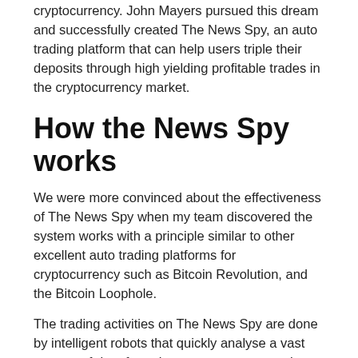cryptocurrency. John Mayers pursued this dream and successfully created The News Spy, an auto trading platform that can help users triple their deposits through high yielding profitable trades in the cryptocurrency market.
How the News Spy works
We were more convinced about the effectiveness of The News Spy when my team discovered the system works with a principle similar to other excellent auto trading platforms for cryptocurrency such as Bitcoin Revolution, and the Bitcoin Loophole.
The trading activities on The News Spy are done by intelligent robots that quickly analyse a vast amount of data from the cryptocurrency market. The trading robots detect profitable trading signals which are leveraged to